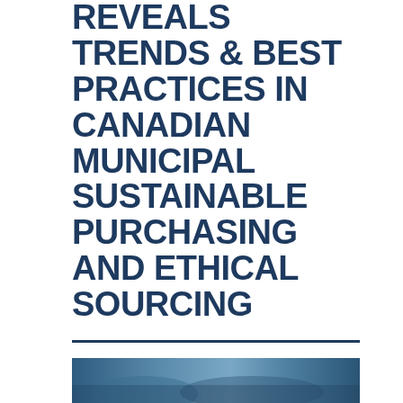REVEALS TRENDS & BEST PRACTICES IN CANADIAN MUNICIPAL SUSTAINABLE PURCHASING AND ETHICAL SOURCING
[Figure (photo): Partial photograph visible at bottom of page, appears to show an outdoor or urban scene]